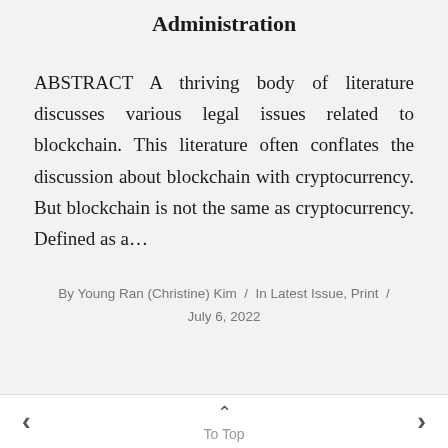Administration
ABSTRACT A thriving body of literature discusses various legal issues related to blockchain. This literature often conflates the discussion about blockchain with cryptocurrency. But blockchain is not the same as cryptocurrency. Defined as a…
By Young Ran (Christine) Kim / In Latest Issue, Print / July 6, 2022
< To Top >